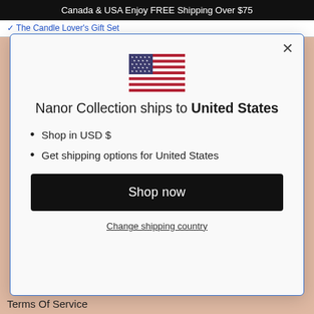Canada & USA Enjoy FREE Shipping Over $75
The Candle Lover's Gift Set
[Figure (illustration): US flag emoji/icon]
Nanor Collection ships to United States
Shop in USD $
Get shipping options for United States
Shop now
Change shipping country
Terms Of Service